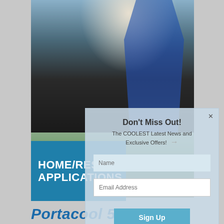[Figure (photo): Technician in blue overalls leaning over equipment, top portion of page]
[Figure (photo): Outdoor residential AC/evaporative cooler unit near plants and flowers, bottom portion]
HOME/RESIDENTIAL APPLICATIONS
Don't Miss Out!
The COOLEST Latest News and Exclusive Offers!
Name
Email Address
Sign Up
Portacool 510